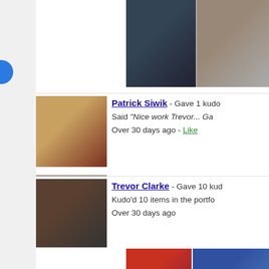[Figure (photo): Two artwork thumbnail images at top of feed]
Patrick Siwik - Gave 1 kudo. Said "Nice work Trevor... Ga" Over 30 days ago - Like
Trevor Clarke - Gave 10 kudos. Kudo'd 10 items in the portfolio. Over 30 days ago
[Figure (photo): Two artwork thumbnails: red organic painting and blue figure painting]
Demaris M. Jarvis - Gave 1 kudo. Said "Nice work!!" to Trevor. Over 30 days ago - Like
Trevor Clarke - Gave 3 kudos. Kudo'd 3 items in the portfolio. Over 30 days ago
[Figure (photo): Artwork thumbnail partially visible at bottom]